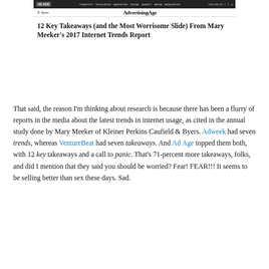[Figure (screenshot): Screenshot of an AdvertisingAge website page showing navigation bar and article header]
12 Key Takeaways (and the Most Worrisome Slide) From Mary Meeker’s 2017 Internet Trends Report
That said, the reason I’m thinking about research is because there has been a flurry of reports in the media about the latest trends in internet usage, as cited in the annual study done by Mary Meeker of Kleiner Perkins Caufield & Byers. Adweek had seven trends, whereas VentureBeat had seven takeaways. And Ad Age topped them both, with 12 key takeaways and a call to panic. That’s 71-percent more takeaways, folks, and did I mention that they said you should be worried? Fear! FEAR!!! It seems to be selling better than sex these days. Sad.